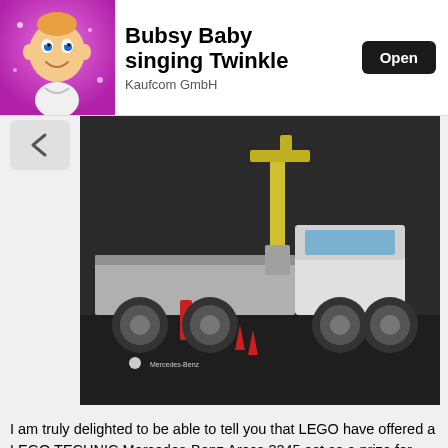[Figure (screenshot): App store banner showing 'Bubsy Baby singing Twinkle' by Kaufcom GmbH with an Open button and animated baby character icon on pink background]
[Figure (photo): LEGO Technic Mercedes-Benz Arocs 3245 truck set on dark background, official product photo with Mercedes-Benz logo]
I am truly delighted to be able to tell you that LEGO have offered a LEGO TECHNIC Mercedes-Benz Arocs 3245 set as a prize for one of my readers. I'm also incredibly jealous!!
Entry to the giveaway is by Gleam form because that's fair - the winner is chosen by random.org from all of the entries. I do not save, copy or sell any of your information - it is only used to inform the winner once the giveaway has ended.